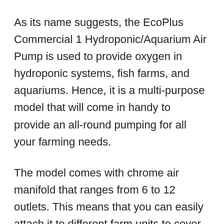As its name suggests, the EcoPlus Commercial 1 Hydroponic/Aquarium Air Pump is used to provide oxygen in hydroponic systems, fish farms, and aquariums. Hence, it is a multi-purpose model that will come in handy to provide an all-round pumping for all your farming needs.
The model comes with chrome air manifold that ranges from 6 to 12 outlets. This means that you can easily attach it to different farm units to cover your entire farm. Its pistons and cylinders are made of premium materials that ensure the system last for years.